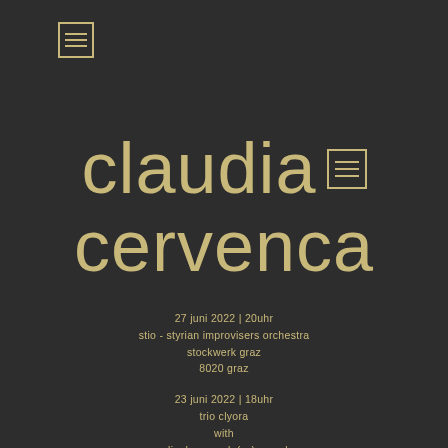[Figure (other): Menu hamburger icon in top left, outlined box with three horizontal lines]
claudia cervenca
27 juni 2022 | 20uhr
stio - styrian improvisers orchestra
stockwerk graz
8020 graz
23 juni 2022 | 18uhr
trio clyora
with
radim hanousek (cz) - reeds
yoram rosilio (fr) - double bass
improfest währing 23 - 26 juni 2022
kunstbetrieb
klostergasse 11, 1180 wien
20 juni 2022 | 20uhr
vio - vienna improvisers orchestra